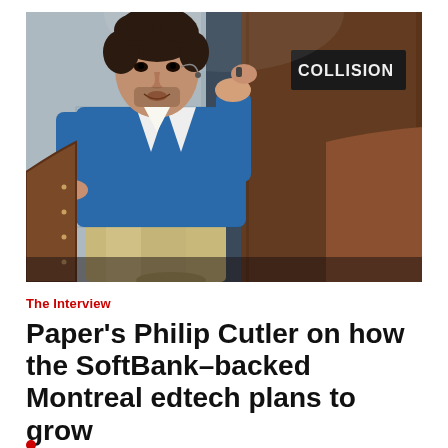[Figure (photo): A man in a blue checked blazer sitting in a leather chair on a stage, speaking at a conference (Collision conference visible on signage in background). He has dark curly hair and a microphone headset.]
The Interview
Paper's Philip Cutler on how the SoftBank-backed Montreal edtech plans to grow